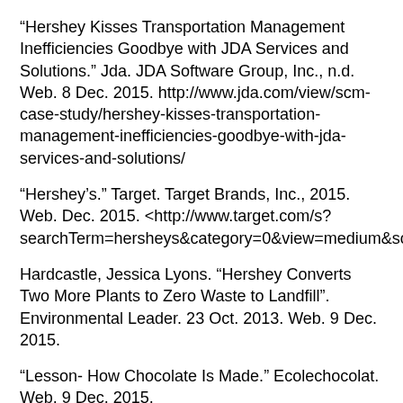“Hershey Kisses Transportation Management Inefficiencies Goodbye with JDA Services and Solutions.” Jda. JDA Software Group, Inc., n.d. Web. 8 Dec. 2015. http://www.jda.com/view/scm-case-study/hershey-kisses-transportation-management-inefficiencies-goodbye-with-jda-services-and-solutions/
“Hershey’s.” Target. Target Brands, Inc., 2015. Web. Dec. 2015. <http://www.target.com/s?searchTerm=hersheys&category=0&view=medium&sort=relev
Hardcastle, Jessica Lyons. “Hershey Converts Two More Plants to Zero Waste to Landfill”. Environmental Leader. 23 Oct. 2013. Web. 9 Dec. 2015.
“Lesson- How Chocolate Is Made.” Ecolechocolat. Web. 9 Dec. 2015.
“Manufacturing Network and Factory Video Tour.” The Hershey Company. The Hershey Company, n.d. Web. 08